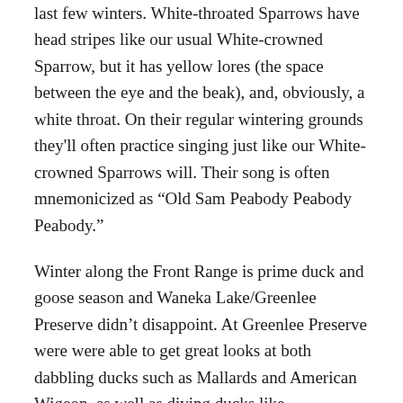last few winters. White-throated Sparrows have head stripes like our usual White-crowned Sparrow, but it has yellow lores (the space between the eye and the beak), and, obviously, a white throat. On their regular wintering grounds they'll often practice singing just like our White-crowned Sparrows will. Their song is often mnemonicized as "Old Sam Peabody Peabody Peabody."
Winter along the Front Range is prime duck and goose season and Waneka Lake/Greenlee Preserve didn't disappoint. At Greenlee Preserve were were able to get great looks at both dabbling ducks such as Mallards and American Wigeon, as well as diving ducks like Buffleheads and Ring-necked Ducks. Dabbling Ducks are surface-feeding ducks. Rather than diving under the water to find food such as fish, they can be seen with their butts tipped up in the air while their heads are busy underwater sucking up